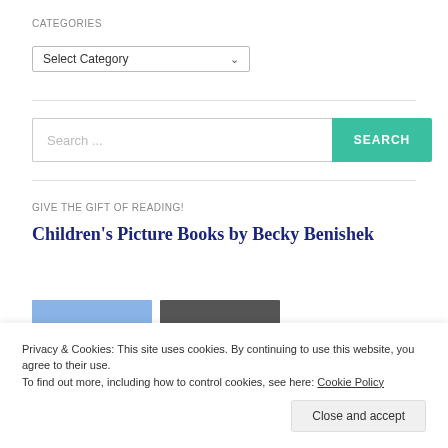CATEGORIES
[Figure (screenshot): Dropdown selector showing 'Select Category' with a chevron arrow]
[Figure (screenshot): Search input field with placeholder 'Search ...' and a teal SEARCH button]
GIVE THE GIFT OF READING!
Children's Picture Books by Becky Benishek
Privacy & Cookies: This site uses cookies. By continuing to use this website, you agree to their use.
To find out more, including how to control cookies, see here: Cookie Policy
Close and accept